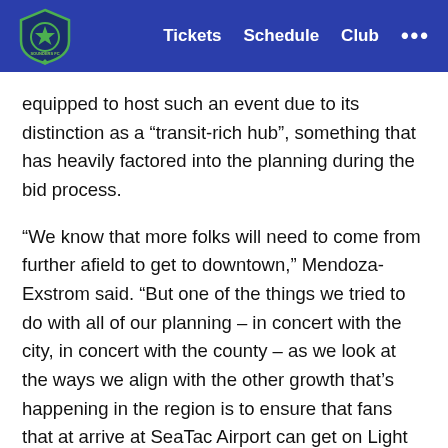Tickets  Schedule  Club  ...
equipped to host such an event due to its distinction as a “transit-rich hub”, something that has heavily factored into the planning during the bid process.
“We know that more folks will need to come from further afield to get to downtown,” Mendoza-Exstrom said. “But one of the things we tried to do with all of our planning – in concert with the city, in concert with the county – as we look at the ways we align with the other growth that’s happening in the region is to ensure that fans that at arrive at SeaTac Airport can get on Light Rail and don’t have to get to a vehicle and get to their hotels and points of interest with ease.